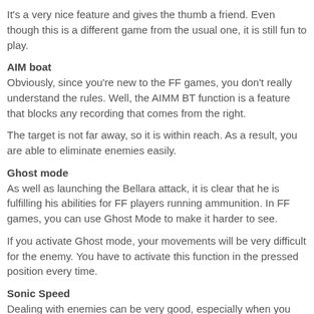It's a very nice feature and gives the thumb a friend. Even though this is a different game from the usual one, it is still fun to play.
AIM boat
Obviously, since you're new to the FF games, you don't really understand the rules. Well, the AIMM BT function is a feature that blocks any recording that comes from the right.
The target is not far away, so it is within reach. As a result, you are able to eliminate enemies easily.
Ghost mode
As well as launching the Bellara attack, it is clear that he is fulfilling his abilities for FF players running ammunition. In FF games, you can use Ghost Mode to make it harder to see.
If you activate Ghost mode, your movements will be very difficult for the enemy. You have to activate this function in the pressed position every time.
Sonic Speed
Dealing with enemies can be very good, especially when you shoot each other, but what if they are enemies without weapons? The farther we walk, the better.